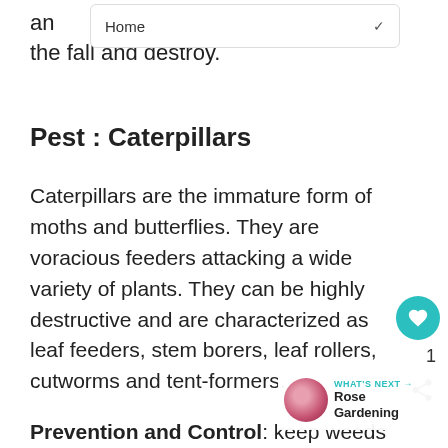Home
an the fall and destroy.
Pest : Caterpillars
Caterpillars are the immature form of moths and butterflies. They are voracious feeders attacking a wide variety of plants. They can be highly destructive and are characterized as leaf feeders, stem borers, leaf rollers, cutworms and tent-formers.
Prevention and Control: keep weeds do scout individual plants and remove caterpillars, apply labeled insectici as soaps and oils, take advantage of natural